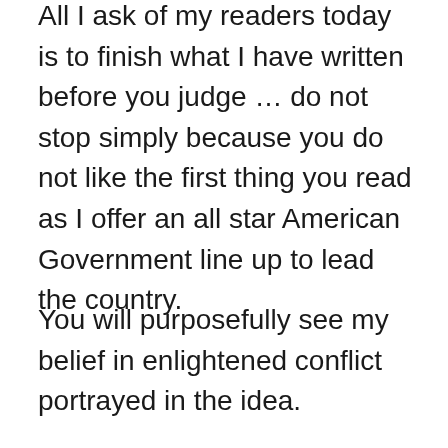All I ask of my readers today is to finish what I have written before you judge … do not stop simply because you do not like the first thing you read as I offer an all star American Government line up to lead the country.
You will purposefully see my belief in enlightened conflict portrayed in the idea.